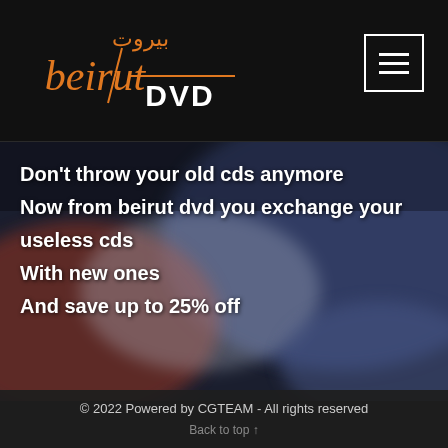Beirut DVD logo and navigation
[Figure (screenshot): Beirut DVD logo with Arabic text بيروت and stylized italic 'beirut' with DVD wordmark in white]
Don't throw your old cds anymore
Now from beirut dvd you exchange your useless cds
With new ones
And save up to 25% off
© 2022 Powered by CGTEAM - All rights reserved
Back to top ↑